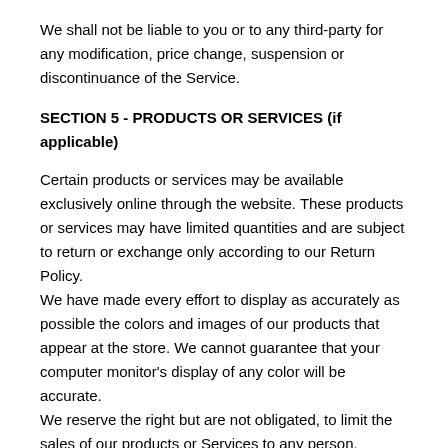We shall not be liable to you or to any third-party for any modification, price change, suspension or discontinuance of the Service.
SECTION 5 - PRODUCTS OR SERVICES (if applicable)
Certain products or services may be available exclusively online through the website. These products or services may have limited quantities and are subject to return or exchange only according to our Return Policy.
We have made every effort to display as accurately as possible the colors and images of our products that appear at the store. We cannot guarantee that your computer monitor's display of any color will be accurate.
We reserve the right but are not obligated, to limit the sales of our products or Services to any person, geographic region or jurisdiction. We may exercise this right on a case-by-case basis. We reserve the right to limit the quantities of any products or services that we offer. All descriptions of products